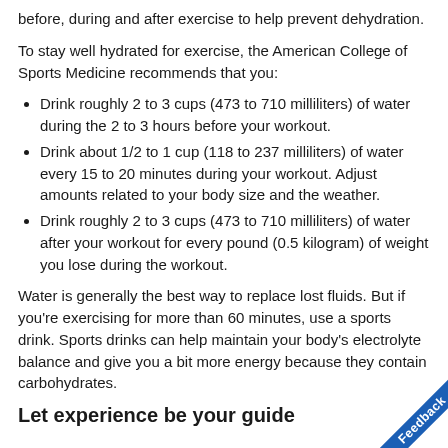before, during and after exercise to help prevent dehydration.
To stay well hydrated for exercise, the American College of Sports Medicine recommends that you:
Drink roughly 2 to 3 cups (473 to 710 milliliters) of water during the 2 to 3 hours before your workout.
Drink about 1/2 to 1 cup (118 to 237 milliliters) of water every 15 to 20 minutes during your workout. Adjust amounts related to your body size and the weather.
Drink roughly 2 to 3 cups (473 to 710 milliliters) of water after your workout for every pound (0.5 kilogram) of weight you lose during the workout.
Water is generally the best way to replace lost fluids. But if you're exercising for more than 60 minutes, use a sports drink. Sports drinks can help maintain your body's electrolyte balance and give you a bit more energy because they contain carbohydrates.
Let experience be your guide